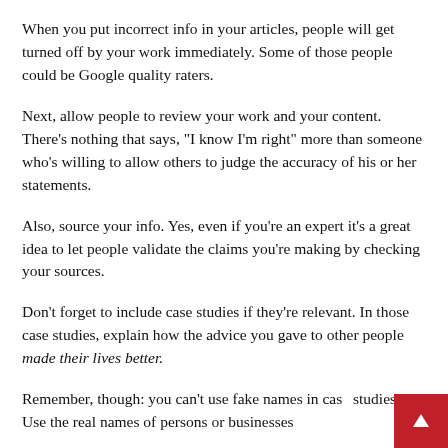When you put incorrect info in your articles, people will get turned off by your work immediately. Some of those people could be Google quality raters.
Next, allow people to review your work and your content. There’s nothing that says, “I know I’m right” more than someone who’s willing to allow others to judge the accuracy of his or her statements.
Also, source your info. Yes, even if you’re an expert it’s a great idea to let people validate the claims you’re making by checking your sources.
Don’t forget to include case studies if they’re relevant. In those case studies, explain how the advice you gave to other people made their lives better.
Remember, though: you can’t use fake names in case studies. Use the real names of persons or businesses